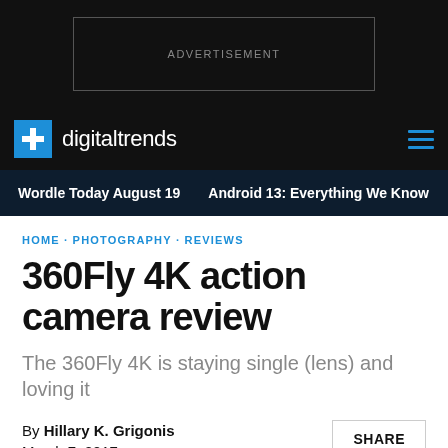[Figure (other): Advertisement banner placeholder with dark background and bordered box labeled ADVERTISEMENT]
digitaltrends
Wordle Today August 19 · Android 13: Everything We Know
HOME · PHOTOGRAPHY · REVIEWS
360Fly 4K action camera review
The 360Fly 4K is staying single (lens) and loving it
By Hillary K. Grigonis
March 7, 2017
SHARE